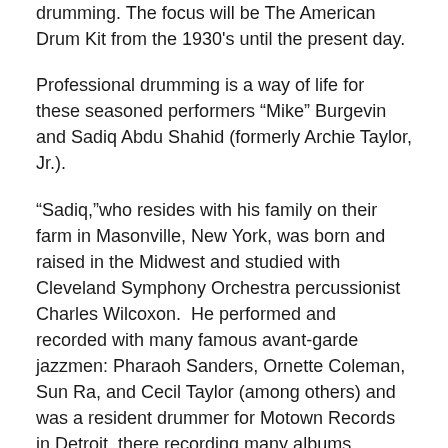drumming. The focus will be The American Drum Kit from the 1930's until the present day.
Professional drumming is a way of life for these seasoned performers “Mike” Burgevin and Sadiq Abdu Shahid (formerly Archie Taylor, Jr.).
“Sadiq,”who resides with his family on their farm in Masonville, New York, was born and raised in the Midwest and studied with Cleveland Symphony Orchestra percussionist Charles Wilcoxon.  He performed and recorded with many famous avant-garde jazzmen: Pharaoh Sanders, Ornette Coleman, Sun Ra, and Cecil Taylor (among others) and was a resident drummer for Motown Records in Detroit, there recording many albums backing R&B groups.
His father, Archie Taylor, Sr., was also a famous drummer